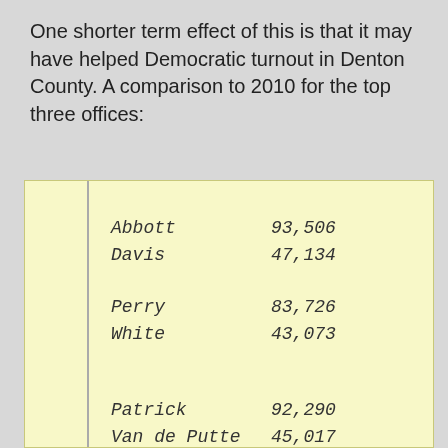One shorter term effect of this is that it may have helped Democratic turnout in Denton County. A comparison to 2010 for the top three offices:
| Name | Votes |
| --- | --- |
| Abbott | 93,506 |
| Davis | 47,134 |
| Perry | 83,726 |
| White | 43,073 |
| Patrick | 92,290 |
| Van de Putte | 45,017 |
| Dewhurst | 92,074 |
| C. Thompson | 33,962 |